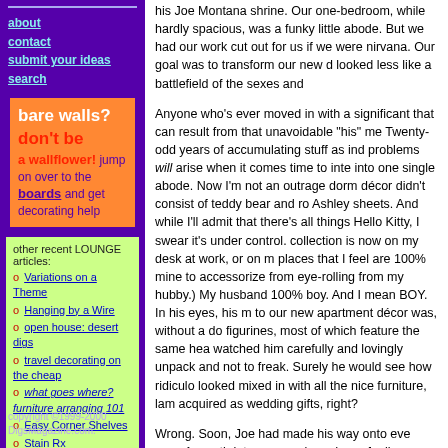about
contact
submit your ideas
search
[Figure (infographic): Orange advertisement box reading 'bare walls? don't be a wallflower! jump on over to the boards and get decorating help']
other recent LOUNGE articles:
Variations on a Theme
Hanging by a Wire
open house: desert digs
travel decorating on the cheap
what goes where? furniture arranging 101
Easy Corner Shelves
Stain Rx
Hang-up Help
Cluttered place/ Spartan Space
copyright ©1999-2000 DigsMagazine.com.
his Joe Montana shrine. Our one-bedroom, while hardly spacious, was a funky little abode. But we had our work cut out for us if we were nirvana. Our goal was to transform our new d looked less like a battlefield of the sexes and
Anyone who's ever moved in with a significant that can result from that unavoidable "his" me Twenty-odd years of accumulating stuff as ind problems will arise when it comes time to inte into one single abode. Now I'm not an outrage dorm décor didn't consist of teddy bear and ro Ashley sheets. And while I'll admit that there's all things Hello Kitty, I swear it's under control. collection is now on my desk at work, or on m places that I feel are 100% mine to accessorize from eye-rolling from my hubby.) My husband 100% boy. And I mean BOY. In his eyes, his m to our new apartment décor was, without a do figurines, most of which feature the same hea watched him carefully and lovingly unpack and not to freak. Surely he would see how ridiculo looked mixed in with all the nice furniture, lam acquired as wedding gifts, right?
Wrong. Soon, Joe had made his way onto eve own. A month into our marriage, I was feeling choice: Joe or me.